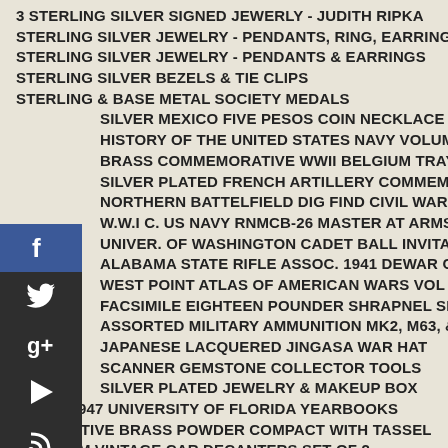3 STERLING SILVER SIGNED JEWERLY - JUDITH RIPKA
STERLING SILVER JEWELRY - PENDANTS, RING, EARRINGS
STERLING SILVER JEWELRY - PENDANTS & EARRINGS
STERLING SILVER BEZELS & TIE CLIPS
STERLING & BASE METAL SOCIETY MEDALS
SILVER MEXICO FIVE PESOS COIN NECKLACE ART
HISTORY OF THE UNITED STATES NAVY VOLUME 1 & 2
BRASS COMMEMORATIVE WWII BELGIUM TRAY
SILVER PLATED FRENCH ARTILLERY COMMEMORATIVE TRAY
NORTHERN BATTELFIELD DIG FIND CIVIL WAR RELICS
W.W.I C. US NAVY RNMCB-26 MASTER AT ARMS BADGE
UNIVER. OF WASHINGTON CADET BALL INVITATION
ALABAMA STATE RIFLE ASSOC. 1941 DEWAR COURSE MEDAL
WEST POINT ATLAS OF AMERICAN WARS VOL I & II
FACSIMILE EIGHTEEN POUNDER SHRAPNEL SHELL
ASSORTED MILITARY AMMUNITION MK2, M63, & MORE
JAPANESE LACQUERED JINGASA WAR HAT
SCANNER GEMSTONE COLLECTOR TOOLS
SILVER PLATED JEWELRY & MAKEUP BOX
1946 & 1947 UNIVERSITY OF FLORIDA YEARBOOKS
DECORATIVE BRASS POWDER COMPACT WITH TASSEL
JIM BEAM VINTAGE CAR DECANTERS SET OF 2
JIM BEAM VINTAGE CAR DECANTERS SET OF 3